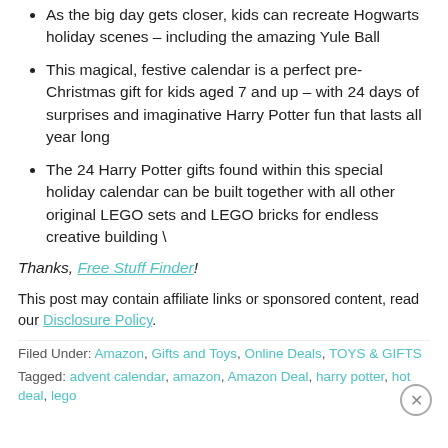As the big day gets closer, kids can recreate Hogwarts holiday scenes – including the amazing Yule Ball
This magical, festive calendar is a perfect pre-Christmas gift for kids aged 7 and up – with 24 days of surprises and imaginative Harry Potter fun that lasts all year long
The 24 Harry Potter gifts found within this special holiday calendar can be built together with all other original LEGO sets and LEGO bricks for endless creative building \
Thanks, Free Stuff Finder!
This post may contain affiliate links or sponsored content, read our Disclosure Policy.
Filed Under: Amazon, Gifts and Toys, Online Deals, TOYS & GIFTS
Tagged: advent calendar, amazon, Amazon Deal, harry potter, hot deal, lego